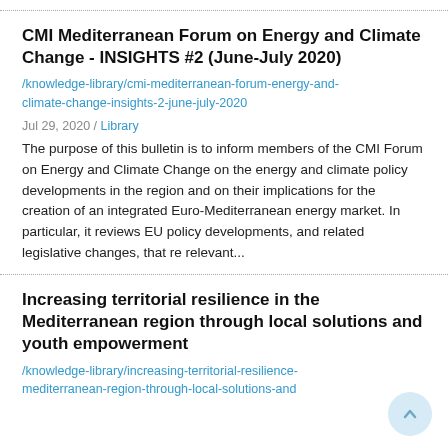CMI Mediterranean Forum on Energy and Climate Change - INSIGHTS #2 (June-July 2020)
/knowledge-library/cmi-mediterranean-forum-energy-and-climate-change-insights-2-june-july-2020
Jul 29, 2020 / Library
The purpose of this bulletin is to inform members of the CMI Forum on Energy and Climate Change on the energy and climate policy developments in the region and on their implications for the creation of an integrated Euro-Mediterranean energy market. In particular, it reviews EU policy developments, and related legislative changes, that re relevant...
Increasing territorial resilience in the Mediterranean region through local solutions and youth empowerment
/knowledge-library/increasing-territorial-resilience-mediterranean-region-through-local-solutions-and